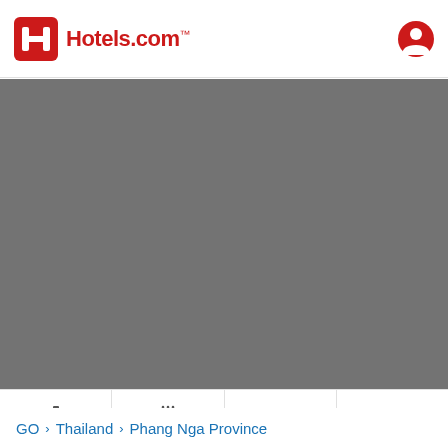[Figure (logo): Hotels.com logo with red H icon and red text]
[Figure (screenshot): Gray map area placeholder]
[Figure (infographic): Navigation bar with Things to do, Food, Shopping, More tabs]
GO > Thailand > Phang Nga Province